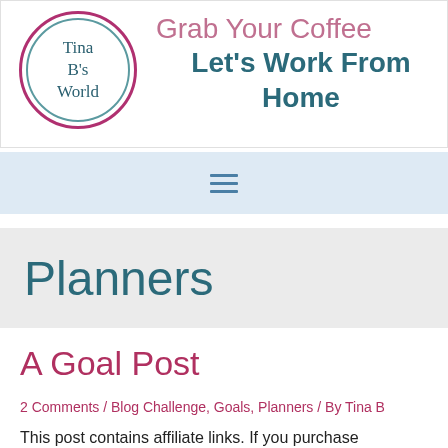[Figure (logo): Tina B's World circular logo with pink outer ring and teal inner ring, text 'Tina B's World' in center]
Grab Your Coffee Let's Work From Home
≡
Planners
A Goal Post
2 Comments / Blog Challenge, Goals, Planners / By Tina B
This post contains affiliate links. If you purchase